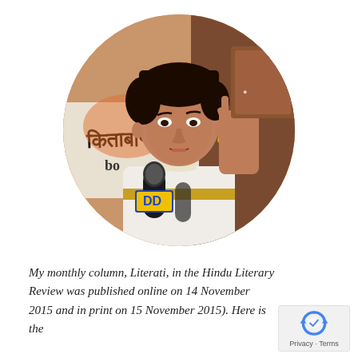[Figure (photo): A circular cropped portrait photo of a woman with short dark hair, wearing a white saree with gold border and pearl necklace, holding a black microphone with 'DD' logo (Doordarshan), raising one hand with a ring on finger. Background shows a banner with Hindi/Marathi script and 'bo' text visible.]
My monthly column, Literati, in the Hindu Literary Review was published online on 14 November 2015 and in print on 15 November 2015). Here is the